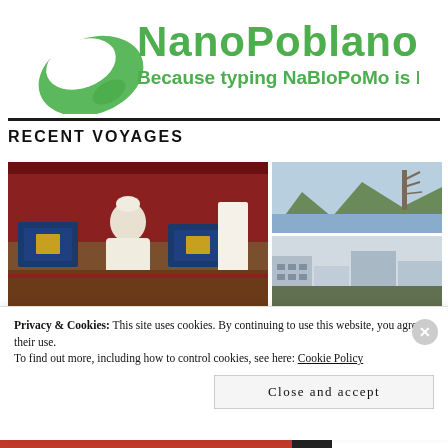[Figure (logo): NanoPoblano 2014 logo with green swirl and text 'Because typing NaBloPoMo is hard.']
RECENT VOYAGES
[Figure (photo): Left: Man in white robe and cap sitting on colorful rugs in a traditional setting. Top right: Mountain and lake landscape with bare trees. Bottom right: Partial view of buildings or structures.]
Privacy & Cookies: This site uses cookies. By continuing to use this website, you agree to their use.
To find out more, including how to control cookies, see here: Cookie Policy
Close and accept